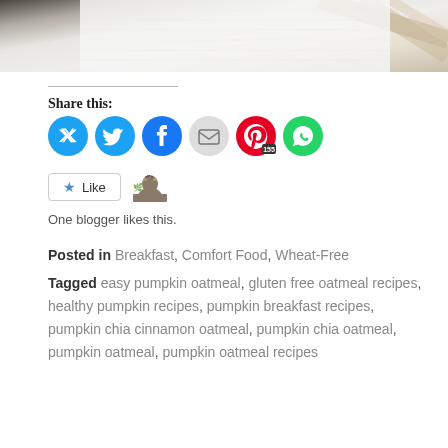[Figure (photo): Close-up photo of white fabric/towel with tan/beige diagonal stripes on a dark wooden surface]
Share this:
[Figure (infographic): Social share buttons: Twitter (blue circle), Facebook (blue circle), Email (gray circle), Pinterest (red circle with 155 count), WhatsApp (green circle)]
[Figure (infographic): Like button with blue star and blogger avatar icon]
One blogger likes this.
Posted in Breakfast, Comfort Food, Wheat-Free
Tagged easy pumpkin oatmeal, gluten free oatmeal recipes, healthy pumpkin recipes, pumpkin breakfast recipes, pumpkin chia cinnamon oatmeal, pumpkin chia oatmeal, pumpkin oatmeal, pumpkin oatmeal recipes